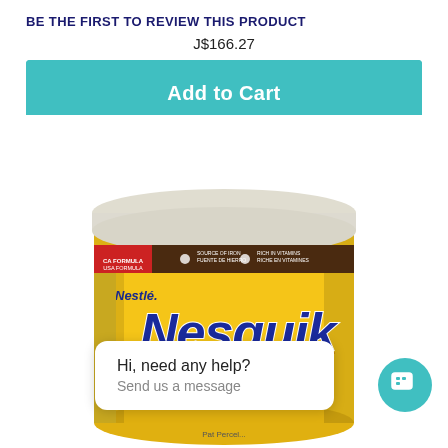BE THE FIRST TO REVIEW THIS PRODUCT
J$166.27
Add to Cart
[Figure (photo): A yellow Nestle Nesquik Instant Chocolate Flavored Drink Mix container/tub, partially cropped, with a clear lid and brown label strip at the top. A chat bubble overlay reads 'Hi, need any help? Send us a message' with a teal chat icon button in the bottom right.]